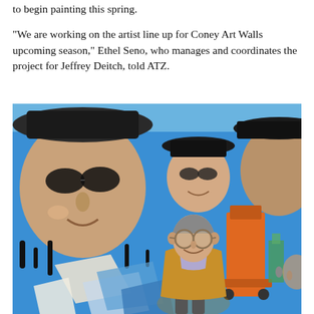to begin painting this spring.
“We are working on the artist line up for Coney Art Walls upcoming season,” Ethel Seno, who manages and coordinates the project for Jeffrey Deitch, told ATZ.
[Figure (photo): A man with round sunglasses and a tan blazer standing in front of a large colorful mural featuring painted faces of people wearing hats, with blue sky and geometric shapes. An orange construction lift is visible in the background.]